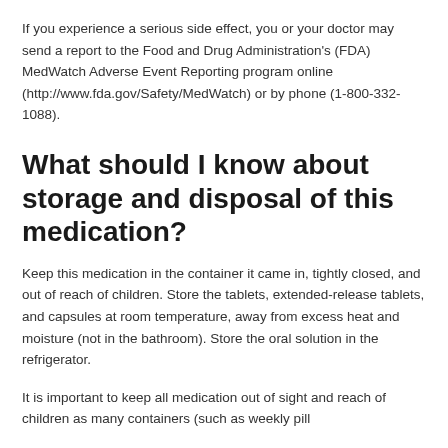If you experience a serious side effect, you or your doctor may send a report to the Food and Drug Administration's (FDA) MedWatch Adverse Event Reporting program online (http://www.fda.gov/Safety/MedWatch) or by phone (1-800-332-1088).
What should I know about storage and disposal of this medication?
Keep this medication in the container it came in, tightly closed, and out of reach of children. Store the tablets, extended-release tablets, and capsules at room temperature, away from excess heat and moisture (not in the bathroom). Store the oral solution in the refrigerator.
It is important to keep all medication out of sight and reach of children as many containers (such as weekly pill